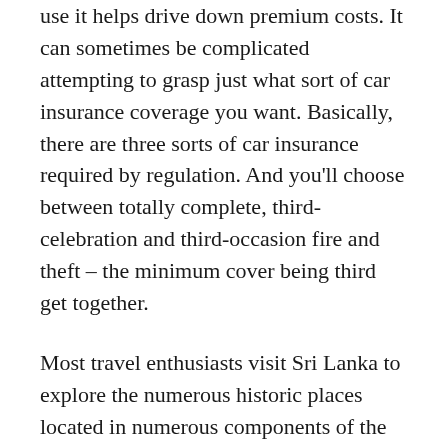use it helps drive down premium costs. It can sometimes be complicated attempting to grasp just what sort of car insurance coverage you want. Basically, there are three sorts of car insurance required by regulation. And you'll choose between totally complete, third-celebration and third-occasion fire and theft – the minimum cover being third get together.
Most travel enthusiasts visit Sri Lanka to explore the numerous historic places located in numerous components of the country. Religious cities equivalent to Anuradhapura, Polonnaruwa, Dambulla and Kandy supply a plethora of tourist sights which cannot be coated in someday. The hill country affords a true feast for eyes with its lush inexperienced mountains lined with tea and never forgetting the attractive cascading waterfalls. Sigiriya, located in North-central province encompasses a 200-metre excessive rock which is also known as the